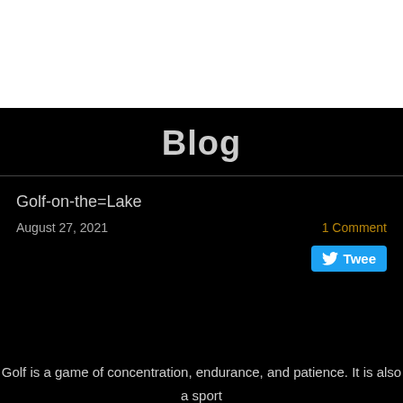Blog
Golf-on-the=Lake
August 27, 2021
1 Comment
Tweet
Golf is a game of concentration, endurance, and patience. It is also a sport that offers amazing walks through nature, and scenic views. Now that the lockdown has been lifted golfers can